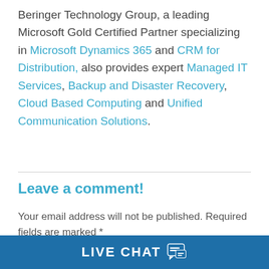Beringer Technology Group, a leading Microsoft Gold Certified Partner specializing in Microsoft Dynamics 365 and CRM for Distribution, also provides expert Managed IT Services, Backup and Disaster Recovery, Cloud Based Computing and Unified Communication Solutions.
Leave a comment!
Your email address will not be published. Required fields are marked *
LIVE CHAT